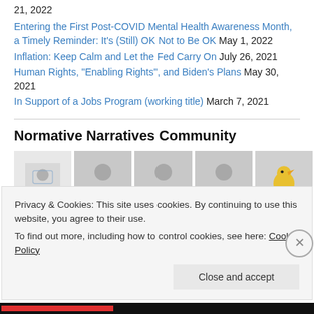21, 2022
Entering the First Post-COVID Mental Health Awareness Month, a Timely Reminder: It's (Still) OK Not to Be OK  May 1, 2022
Inflation: Keep Calm and Let the Fed Carry On  July 26, 2021
Human Rights, "Enabling Rights", and Biden's Plans  May 30, 2021
In Support of a Jobs Program (working title)  March 7, 2021
Normative Narratives Community
[Figure (photo): Row of community member avatar thumbnails including a person with face shield, several gray silhouette placeholders, a yellow bird logo, a person from behind with red hair, another gray silhouette, and a dark photo.]
Privacy & Cookies: This site uses cookies. By continuing to use this website, you agree to their use.
To find out more, including how to control cookies, see here: Cookie Policy
Close and accept